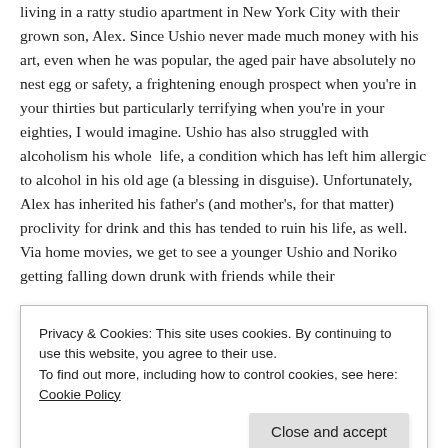living in a ratty studio apartment in New York City with their grown son, Alex. Since Ushio never made much money with his art, even when he was popular, the aged pair have absolutely no nest egg or safety, a frightening enough prospect when you're in your thirties but particularly terrifying when you're in your eighties, I would imagine. Ushio has also struggled with alcoholism his whole  life, a condition which has left him allergic to alcohol in his old age (a blessing in disguise). Unfortunately, Alex has inherited his father's (and mother's, for that matter) proclivity for drink and this has tended to ruin his life, as well. Via home movies, we get to see a younger Ushio and Noriko getting falling down drunk with friends while their
Privacy & Cookies: This site uses cookies. By continuing to use this website, you agree to their use.
To find out more, including how to control cookies, see here: Cookie Policy
Close and accept
display here and, sometimes, it can get to be a bit